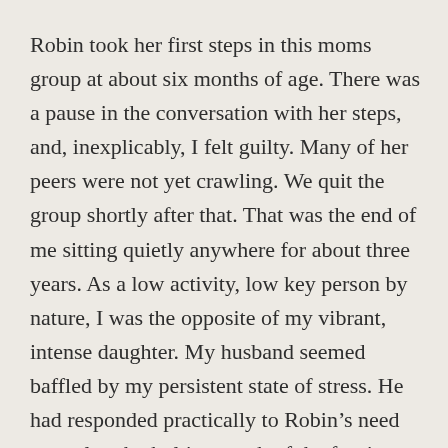Robin took her first steps in this moms group at about six months of age. There was a pause in the conversation with her steps, and, inexplicably, I felt guilty. Many of her peers were not yet crawling. We quit the group shortly after that. That was the end of me sitting quietly anywhere for about three years. As a low activity, low key person by nature, I was the opposite of my vibrant, intense daughter. My husband seemed baffled by my persistent state of stress. He had responded practically to Robin’s need to explore by bolting much of the furniture to the walls, and making the whole house “baby-safe.” But he was away at work and did not have to keep up